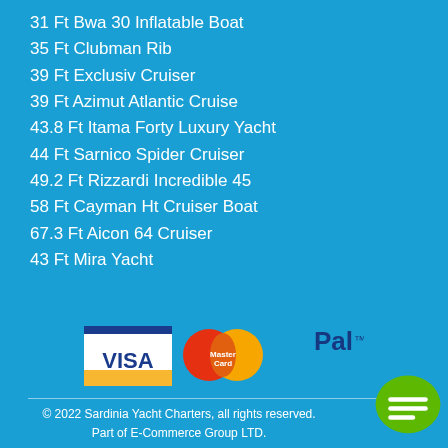31 Ft Bwa 30 Inflatable Boat
35 Ft Clubman Rib
39 Ft Exclusiv Cruiser
39 Ft Azimut Atlantic Cruise
43.8 Ft Itama Forty Luxury Yacht
44 Ft Sarnico Spider Cruiser
49.2 Ft Rizzardi Incredible 45
58 Ft Cayman Ht Cruiser Boat
67.3 Ft Aicon 64 Cruiser
43 Ft Mira Yacht
[Figure (logo): Payment logos: Visa, MasterCard, PayPal]
© 2022 Sardinia Yacht Charters, all rights reserved. Part of E-Commerce Group LTD.